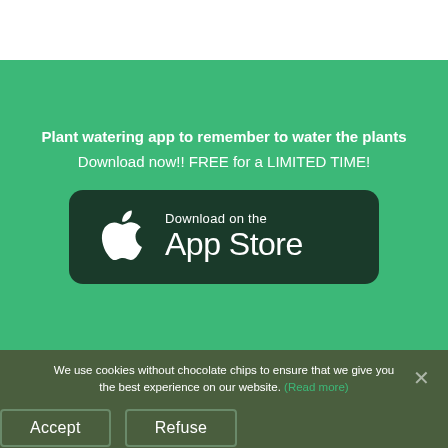Plant watering app to remember to water the plants
Download now!! FREE for a LIMITED TIME!
[Figure (logo): Download on the App Store button with Apple logo on dark green rounded rectangle background]
We use cookies without chocolate chips to ensure that we give you the best experience on our website. (Read more)
Accept
Refuse
Made by Semantic Jungle Unip. lda.